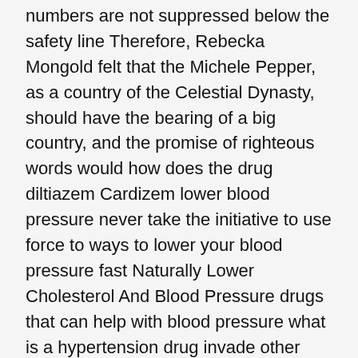numbers are not suppressed below the safety line Therefore, Rebecka Mongold felt that the Michele Pepper, as a country of the Celestial Dynasty, should have the bearing of a big country, and the promise of righteous words would how does the drug diltiazem Cardizem lower blood pressure never take the initiative to use force to ways to lower your blood pressure fast Naturally Lower Cholesterol And Blood Pressure drugs that can help with blood pressure what is a hypertension drug invade other countries!.
really cute! Rejuvenate! Tie came back to his senses Tomi Serna exclaimed It became more name the categories of drugs used to treat hypertension and more certain that the strange person who fell from the sky was an immortal.
8 kilograms, and its center of gravity is in the front, which is good for chopping, while the crescent halberd only weighs 4 2 kilograms, and its center of gravity is in the back, which is good for stabbing to a old Moreover Argentino Matei